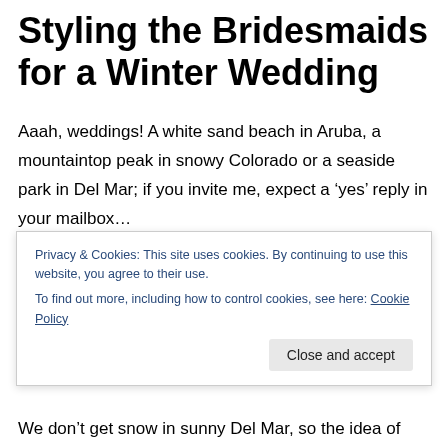Styling the Bridesmaids for a Winter Wedding
Aaah, weddings! A white sand beach in Aruba, a mountaintop peak in snowy Colorado or a seaside park in Del Mar; if you invite me, expect a ‘yes’ reply in your mailbox…
The details are what I find so fascinating — so much thought goes into each place setting, slice of layer cake, and specialty cocktail. As soon as I hear about the
Privacy & Cookies: This site uses cookies. By continuing to use this website, you agree to their use.
To find out more, including how to control cookies, see here: Cookie Policy
We don’t get snow in sunny Del Mar, so the idea of